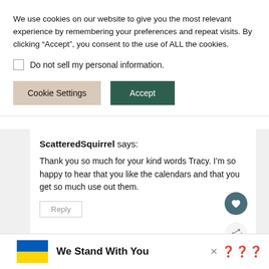We use cookies on our website to give you the most relevant experience by remembering your preferences and repeat visits. By clicking “Accept”, you consent to the use of ALL the cookies.
Do not sell my personal information.
Cookie Settings  Accept
ScatteredSquirrel says:
Thank you so much for your kind words Tracy. I’m so happy to hear that you like the calendars and that you get so much use out them.
Reply
We Stand With You